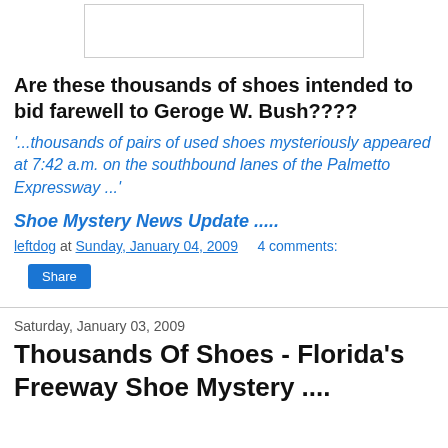[Figure (other): Image placeholder / advertisement banner at top of page]
Are these thousands of shoes intended to bid farewell to Geroge W. Bush????
'...thousands of pairs of used shoes mysteriously appeared at 7:42 a.m. on the southbound lanes of the Palmetto Expressway ...'
Shoe Mystery News Update .....
leftdog at Sunday, January 04, 2009   4 comments:
Share
Saturday, January 03, 2009
Thousands Of Shoes - Florida's Freeway Shoe Mystery ....